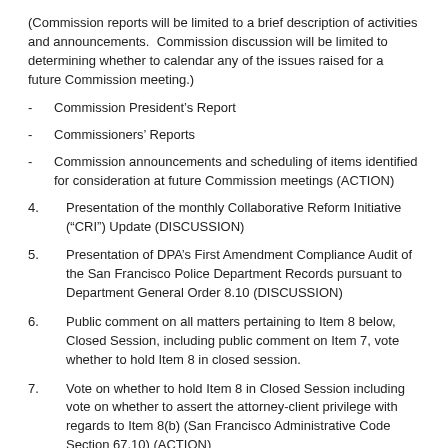(Commission reports will be limited to a brief description of activities and announcements. Commission discussion will be limited to determining whether to calendar any of the issues raised for a future Commission meeting.)
Commission President’s Report
Commissioners’ Reports
Commission announcements and scheduling of items identified for consideration at future Commission meetings (ACTION)
4.    Presentation of the monthly Collaborative Reform Initiative (“CRI”) Update (DISCUSSION)
5.    Presentation of DPA’s First Amendment Compliance Audit of the San Francisco Police Department Records pursuant to Department General Order 8.10 (DISCUSSION)
6.    Public comment on all matters pertaining to Item 8 below, Closed Session, including public comment on Item 7, vote whether to hold Item 8 in closed session.
7.    Vote on whether to hold Item 8 in Closed Session including vote on whether to assert the attorney-client privilege with regards to Item 8(b) (San Francisco Administrative Code Section 67.10) (ACTION)
8.    Closed Session